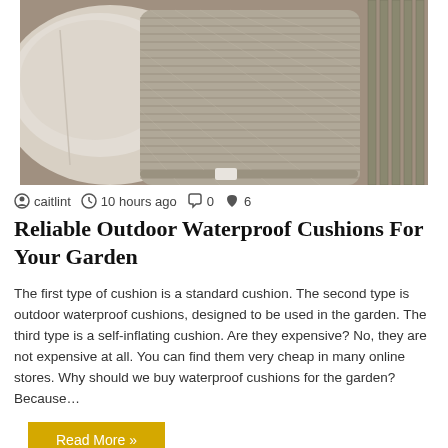[Figure (photo): Outdoor cushions on a garden chair — a textured grey-beige striped cushion in the center with a plain lighter cushion on the left and vertical metal chair slats visible on the right]
caitlint   10 hours ago   0   6
Reliable Outdoor Waterproof Cushions For Your Garden
The first type of cushion is a standard cushion. The second type is outdoor waterproof cushions, designed to be used in the garden. The third type is a self-inflating cushion. Are they expensive? No, they are not expensive at all. You can find them very cheap in many online stores. Why should we buy waterproof cushions for the garden? Because…
Read More »